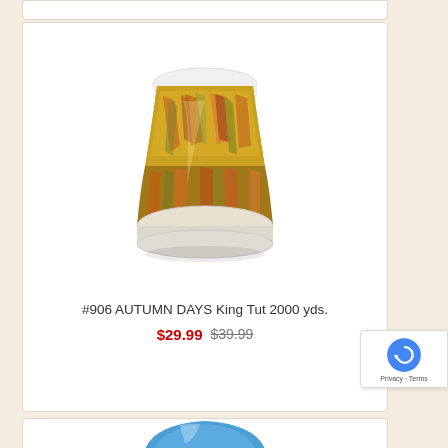[Figure (photo): A large spool/cone of multicolored (autumn tones: gold, orange, rust, green) quilting thread - King Tut 2000 yds brand]
#906 AUTUMN DAYS King Tut 2000 yds.
$29.99 $39.99
[Figure (photo): Partial view of a spool/cone of blue quilting thread]